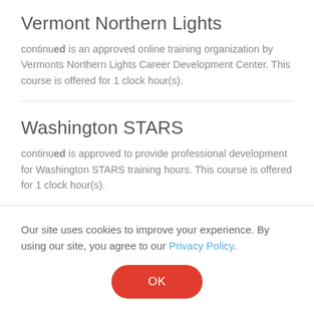Vermont Northern Lights
continued is an approved online training organization by Vermonts Northern Lights Career Development Center. This course is offered for 1 clock hour(s).
Washington STARS
continued is approved to provide professional development for Washington STARS training hours. This course is offered for 1 clock hour(s).
The Registry - Wisconsin
Our site uses cookies to improve your experience. By using our site, you agree to our Privacy Policy.